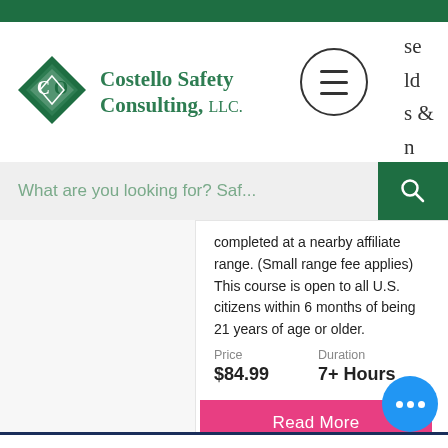[Figure (logo): Costello Safety Consulting LLC logo with diamond-shaped icon and green text]
What are you looking for? Saf...
completed at a nearby affiliate range. (Small range fee applies) This course is open to all U.S. citizens within 6 months of being 21 years of age or older.
Price
$84.99
Duration
7+ Hours
Read More